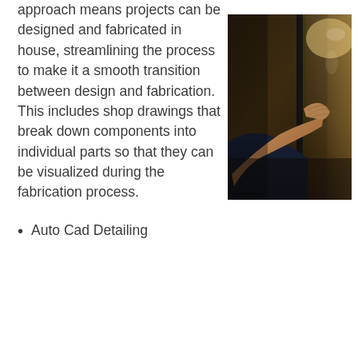approach means projects can be designed and fabricated in house, streamlining the process to make it a smooth transition between design and fabrication. This includes shop drawings that break down components into individual parts so that they can be visualized during the fabrication process.
[Figure (photo): A hand pressing against or cleaning a glass surface, dark background with warm lighting visible through the glass]
Auto Cad Detailing